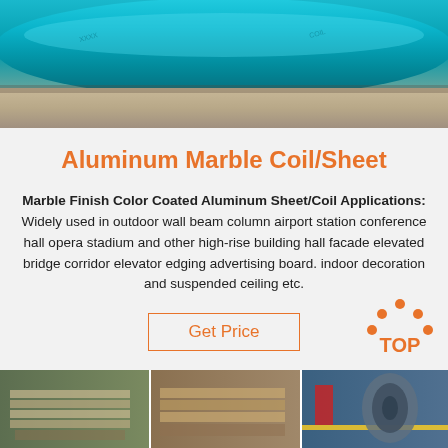[Figure (photo): Close-up photo of a rolled aluminum coil/sheet with blue protective film on top]
Aluminum Marble Coil/Sheet
Marble Finish Color Coated Aluminum Sheet/Coil Applications: Widely used in outdoor wall beam column airport station conference hall opera stadium and other high-rise building hall facade elevated bridge corridor elevator edging advertising board. indoor decoration and suspended ceiling etc.
Get Price
[Figure (photo): Three photos at bottom showing stacks of aluminum sheets/coils in warehouse and manufacturing settings]